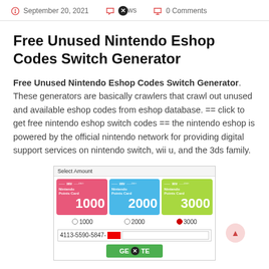September 20, 2021  ✕ws  0 Comments
Free Unused Nintendo Eshop Codes Switch Generator
Free Unused Nintendo Eshop Codes Switch Generator. These generators are basically crawlers that crawl out unused and available eshop codes from eshop database. == click to get free nintendo eshop switch codes == the nintendo eshop is powered by the official nintendo network for providing digital support services on nintendo switch, wii u, and the 3ds family.
[Figure (screenshot): Screenshot of a Nintendo eShop points card selection page showing three cards: 1000 points (pink), 2000 points (blue), 3000 points (green), with radio buttons, a code input field showing '4113-5590-5847-' partially redacted, and a Generate button.]